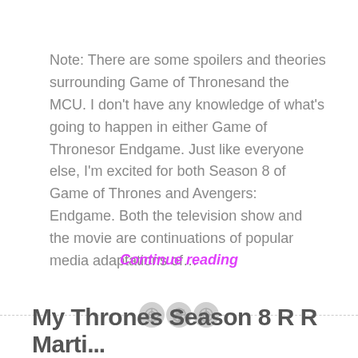Note: There are some spoilers and theories surrounding Game of Thronesand the MCU. I don't have any knowledge of what's going to happen in either Game of Thronesor Endgame. Just like everyone else, I'm excited for both Season 8 of Game of Thrones and Avengers: Endgame. Both the television show and the movie are continuations of popular media adaptations of…
Continue reading
[Figure (other): Three overlapping circles divider icon in light gray, separating content sections]
My Thrones Season 8 R R Marti...